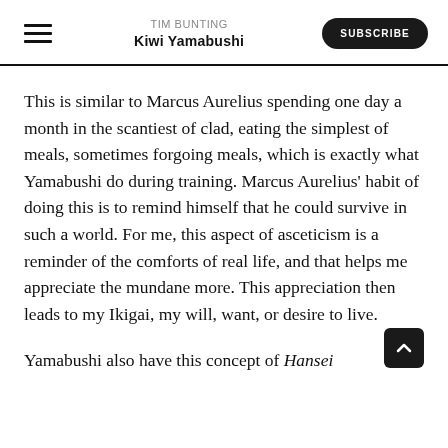TIM BUNTING
KIWI YAMABUSHI
This is similar to Marcus Aurelius spending one day a month in the scantiest of clad, eating the simplest of meals, sometimes forgoing meals, which is exactly what Yamabushi do during training. Marcus Aurelius' habit of doing this is to remind himself that he could survive in such a world. For me, this aspect of asceticism is a reminder of the comforts of real life, and that helps me appreciate the mundane more. This appreciation then leads to my Ikigai, my will, want, or desire to live.
Yamabushi also have this concept of Hansei